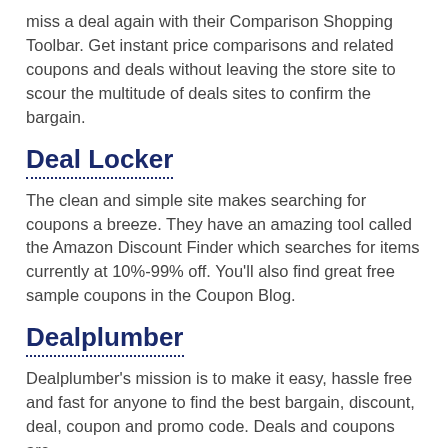miss a deal again with their Comparison Shopping Toolbar. Get instant price comparisons and related coupons and deals without leaving the store site to scour the multitude of deals sites to confirm the bargain.
Deal Locker
The clean and simple site makes searching for coupons a breeze. They have an amazing tool called the Amazon Discount Finder which searches for items currently at 10%-99% off. You'll also find great free sample coupons in the Coupon Blog.
Dealplumber
Dealplumber's mission is to make it easy, hassle free and fast for anyone to find the best bargain, discount, deal, coupon and promo code. Deals and coupons are